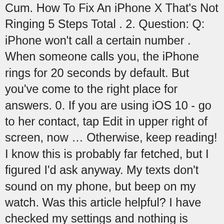Cum. How To Fix An iPhone X That's Not Ringing 5 Steps Total . 2. Question: Q: iPhone won't call a certain number . When someone calls you, the iPhone rings for 20 seconds by default. But you've come to the right place for answers. 0. If you are using iOS 10 - go to her contact, tap Edit in upper right of screen, now … Otherwise, keep reading! I know this is probably far fetched, but I figured I'd ask anyway. My texts don't sound on my phone, but beep on my watch. Was this article helpful? I have checked my settings and nothing is different. In the future, you'll know exactly what to do if your iPhone 7 won't ring. Short tutorial that explains how to change the amount of rings people will hear, before going to voicemail, when they are calling you. Whenever she tries to call me my phone does not ring. This doesn't happen with anyone in particular. 30-Second Tech Trick: iPhone Not Ringing? Update: If you have an iPhone 7, this article will work for you — but you may want to check out my new article called My iPhone 7 Won't Ring for an iPhone 7-specific walkthrough. Question: Q: iphone 6 won't ring for one person